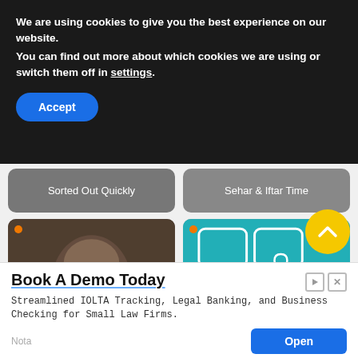We are using cookies to give you the best experience on our website.
You can find out more about which cookies we are using or switch them off in settings.
Accept
Sorted Out Quickly
Sehar & Iftar Time
[Figure (photo): Card showing woman with head in hands with text overlay: How To Deal With Trauma Triggers Based on Childhood Trauma...]
[Figure (photo): Card showing Big Day of Giving BD logo on teal background with text overlay: Stepping Out for Big Day of Giving]
[Figure (other): Yellow circular scroll-to-top button with upward chevron arrow]
Book A Demo Today
Streamlined IOLTA Tracking, Legal Banking, and Business Checking for Small Law Firms.
Nota
Open